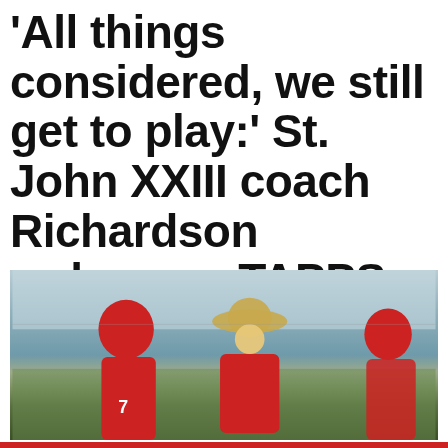'All things considered, we still get to play:' St. John XXIII coach Richardson welcomes TAPPS news
[Figure (photo): A football coach wearing a straw hat and red polo shirt instructs players in red helmets and jerseys on a practice field.]